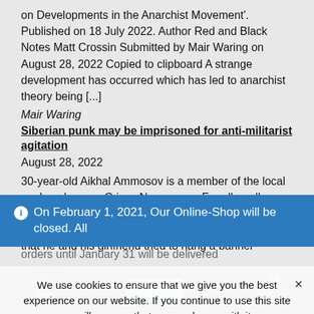on Developments in the Anarchist Movement'. Published on 18 July 2022. Author Red and Black Notes Matt Crossin Submitted by Mair Waring on August 28, 2022 Copied to clipboard A strange development has occurred which has led to anarchist theory being [...]
Mair Waring
Siberian punk may be imprisoned for anti-militarist agitation
August 28, 2022
30-year-old Aikhal Ammosov is a member of the local punk rock group Crispy Newspaper. For allegedly "discrediting the Russian army" this guy is threatened with 3 years in prison. The reason for the case was that he and his girlfriend tried to hang a banner
On February 1, 2021, Our Online-Shop will be closed. All orders until January 31 will be delivered
Dismiss
We use cookies to ensure that we give you the best experience on our website. If you continue to use this site we will assume that you are happy with it.
Ok